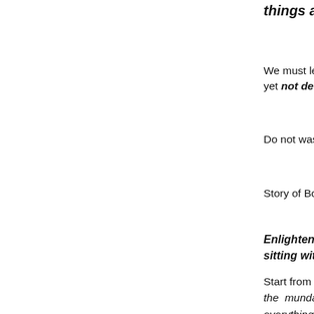things as they a
We must learn t yet not deceive
Do not waste tim
Story of Bodhi d
Enlightenment sitting without
Start from basic the mundane m everything arise arise from the m
There is a natur nature which i